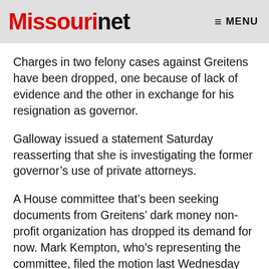Missourinet  MENU
Charges in two felony cases against Greitens have been dropped, one because of lack of evidence and the other in exchange for his resignation as governor.
Galloway issued a statement Saturday reasserting that she is investigating the former governor’s use of private attorneys.
A House committee that’s been seeking documents from Greitens’ dark money non-profit organization has dropped its demand for now. Mark Kempton, who's representing the committee, filed the motion last Wednesday saying the panel is dropping its lawsuit at this time but reserves the right to refile one at a later date.